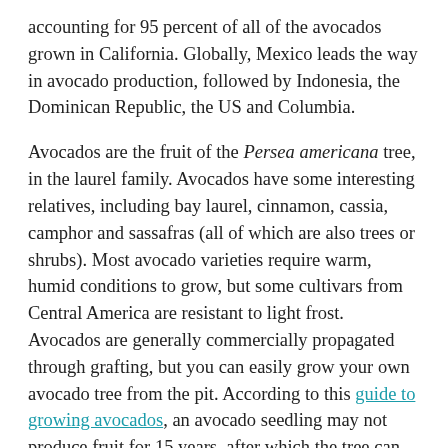accounting for 95 percent of all of the avocados grown in California. Globally, Mexico leads the way in avocado production, followed by Indonesia, the Dominican Republic, the US and Columbia.
Avocados are the fruit of the Persea americana tree, in the laurel family. Avocados have some interesting relatives, including bay laurel, cinnamon, cassia, camphor and sassafras (all of which are also trees or shrubs). Most avocado varieties require warm, humid conditions to grow, but some cultivars from Central America are resistant to light frost. Avocados are generally commercially propagated through grafting, but you can easily grow your own avocado tree from the pit. According to this guide to growing avocados, an avocado seedling may not produce fruit for 15 years, after which the tree can be productive for over 40 years.
Avocados are classified into three different “races:” Mexican, Guatemalan and Caribbean. Many of our